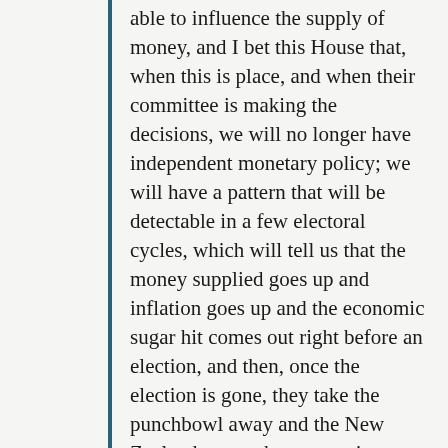able to influence the supply of money, and I bet this House that, when this is place, and when their committee is making the decisions, we will no longer have independent monetary policy; we will have a pattern that will be detectable in a few electoral cycles, which will tell us that the money supplied goes up and inflation goes up and the economic sugar hit comes out right before an election, and then, once the election is gone, they take the punchbowl away and the New Zealanders get the economic instability that the Reserve Bank Act was designed to take away.